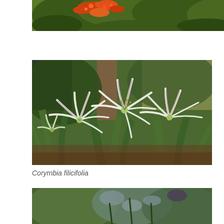[Figure (photo): Partial view of orange-red flowering tree with dark green leaves, cropped at top of page]
[Figure (photo): White spider lily flowers (Crinum or similar) with long curved white petals and pink-streaked centers, growing among broad green strap-like leaves in a garden setting with trees in background]
Corymbia filicifolia
[Figure (photo): Partial view of garden plants with green and bluish-grey foliage, cropped at bottom of page]